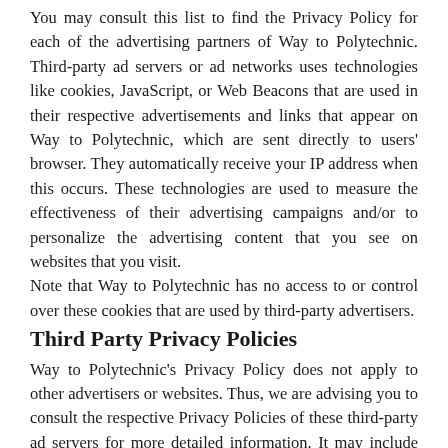You may consult this list to find the Privacy Policy for each of the advertising partners of Way to Polytechnic. Third-party ad servers or ad networks uses technologies like cookies, JavaScript, or Web Beacons that are used in their respective advertisements and links that appear on Way to Polytechnic, which are sent directly to users' browser. They automatically receive your IP address when this occurs. These technologies are used to measure the effectiveness of their advertising campaigns and/or to personalize the advertising content that you see on websites that you visit.
Note that Way to Polytechnic has no access to or control over these cookies that are used by third-party advertisers.
Third Party Privacy Policies
Way to Polytechnic's Privacy Policy does not apply to other advertisers or websites. Thus, we are advising you to consult the respective Privacy Policies of these third-party ad servers for more detailed information. It may include their practices and instructions about how to opt-out of